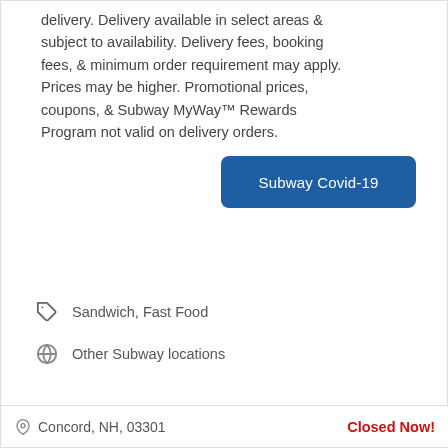delivery. Delivery available in select areas & subject to availability. Delivery fees, booking fees, & minimum order requirement may apply. Prices may be higher. Promotional prices, coupons, & Subway MyWay™ Rewards Program not valid on delivery orders.
[Figure (other): Blue button labeled 'Subway Covid-19']
Sandwich, Fast Food
Other Subway locations
Concord, NH, 03301   Closed Now!